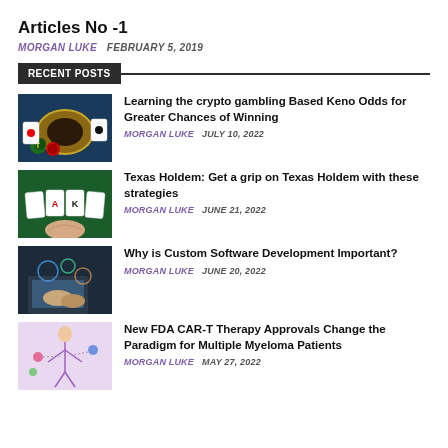Articles No -1
MORGAN LUKE   FEBRUARY 5, 2019
RECENT POSTS
[Figure (photo): Casino chips and cards with roulette wheel]
Learning the crypto gambling Based Keno Odds for Greater Chances of Winning
MORGAN LUKE   JULY 10, 2022
[Figure (photo): Playing cards on green felt table with hand]
Texas Holdem: Get a grip on Texas Holdem with these strategies
MORGAN LUKE   JUNE 21, 2022
[Figure (photo): Person working on laptop with digital interface]
Why is Custom Software Development Important?
MORGAN LUKE   JUNE 20, 2022
[Figure (photo): Medical diagram of human body for CAR-T therapy]
New FDA CAR-T Therapy Approvals Change the Paradigm for Multiple Myeloma Patients
MORGAN LUKE   MAY 27, 2022